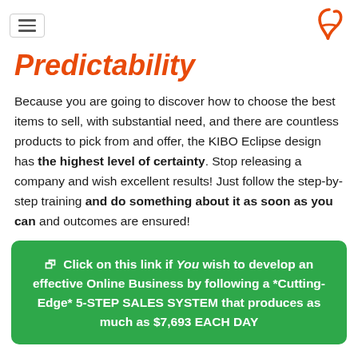Predictability
Because you are going to discover how to choose the best items to sell, with substantial need, and there are countless products to pick from and offer, the KIBO Eclipse design has the highest level of certainty. Stop releasing a company and wish excellent results! Just follow the step-by-step training and do something about it as soon as you can and outcomes are ensured!
Click on this link if You wish to develop an effective Online Business by following a *Cutting-Edge* 5-STEP SALES SYSTEM that produces as much as $7,693 EACH DAY